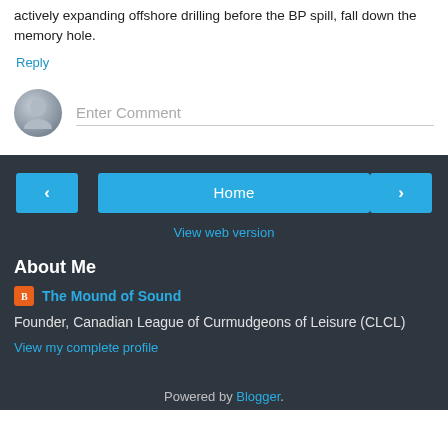actively expanding offshore drilling before the BP spill, fall down the memory hole.
Reply
Enter Comment
Home
View web version
About Me
The Mound of Sound
Founder, Canadian League of Curmudgeons of Leisure (CLCL)
View my complete profile
Powered by Blogger.